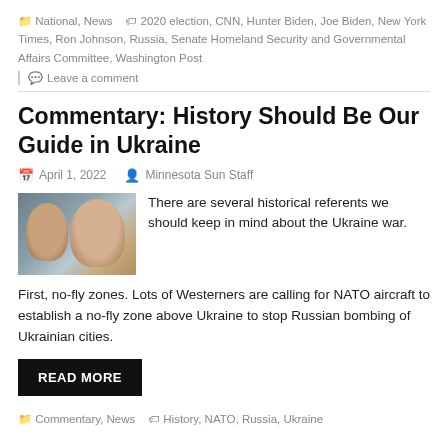National, News  2020 election, CNN, Hunter Biden, Joe Biden, New York Times, Ron Johnson, Russia, Senate Homeland Security and Governmental Affairs Committee, Washington Post
Leave a comment
Commentary: History Should Be Our Guide in Ukraine
April 1, 2022   Minnesota Sun Staff
[Figure (photo): Two men photo — likely Zelensky and Putin side by side]
There are several historical referents we should keep in mind about the Ukraine war.
First, no-fly zones. Lots of Westerners are calling for NATO aircraft to establish a no-fly zone above Ukraine to stop Russian bombing of Ukrainian cities.
READ MORE
Commentary, News   History, NATO, Russia, Ukraine